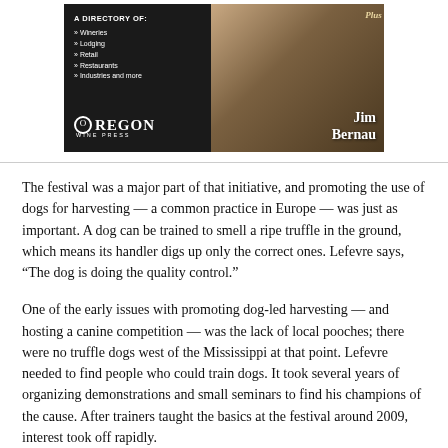[Figure (photo): Advertisement for Oregon Wine Press featuring a directory listing of Wineries, Lodging, Retail, Restaurants, Industries and more, with a photo of a person near a wine barrel and the name Jim Bernau]
The festival was a major part of that initiative, and promoting the use of dogs for harvesting — a common practice in Europe — was just as important. A dog can be trained to smell a ripe truffle in the ground, which means its handler digs up only the correct ones. Lefevre says, “The dog is doing the quality control.”
One of the early issues with promoting dog-led harvesting — and hosting a canine competition — was the lack of local pooches; there were no truffle dogs west of the Mississippi at that point. Lefevre needed to find people who could train dogs. It took several years of organizing demonstrations and small seminars to find his champions of the cause. After trainers taught the basics at the festival around 2009, interest took off rapidly.